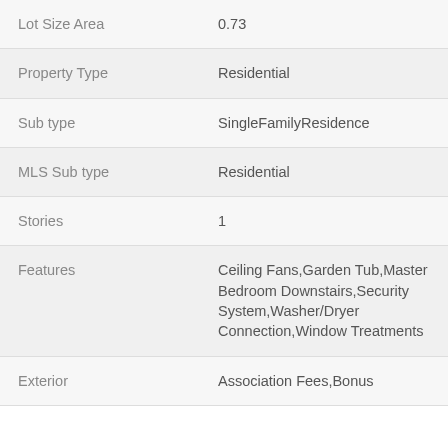| Field | Value |
| --- | --- |
| Lot Size Area | 0.73 |
| Property Type | Residential |
| Sub type | SingleFamilyResidence |
| MLS Sub type | Residential |
| Stories | 1 |
| Features | Ceiling Fans,Garden Tub,Master Bedroom Downstairs,Security System,Washer/Dryer Connection,Window Treatments |
| Exterior | Association Fees,Bonus |